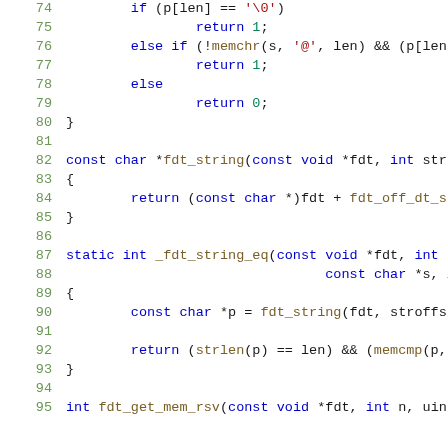[Figure (screenshot): Source code listing in C, lines 74-95, showing functions fdt_string and _fdt_string_eq with syntax highlighting. Line numbers in green on left, keywords in blue, function names in brown/gold.]